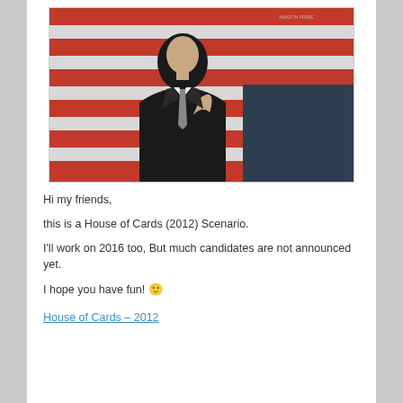[Figure (photo): A man in a dark suit adjusting his tie, standing in front of a red and white striped background (American flag), with the right side dark navy. Promotional image for House of Cards 2012.]
Hi my friends,
this is a House of Cards (2012) Scenario.
I'll work on 2016 too, But much candidates are not announced yet.
I hope you have fun! 🙂
House of Cards – 2012